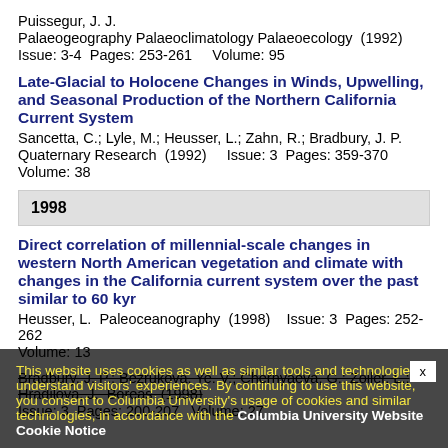Puissegur, J. J.
Palaeogeography Palaeoclimatology Palaeoecology  (1992)
Issue: 3-4  Pages: 253-261    Volume: 95
Late-Glacial to Holocene Changes in Winds, Upwelling, and Seasonal Production of the Northern California Current System
Sancetta, C.; Lyle, M.; Heusser, L.; Zahn, R.; Bradbury, J. P.
Quaternary Research  (1992)    Issue: 3  Pages: 359-370
Volume: 38
1998
Direct correlation of millennial-scale changes in western North American vegetation and climate with changes in the California current system over the past similar to 60 kyr
Heusser, L.  Paleoceanography  (1998)    Issue: 3  Pages: 252-262  Volume: 13
This website uses cookies as well as similar tools and technologies to understand visitors' experiences. By continuing to use this website, you consent to Columbia University's usage of cookies and similar technologies, in accordance with the Columbia University Website Cookie Notice
G.; Zoller, L.; Hradilova, J.  Boreas  (1998)
Issue: 3  Pages: 200-207  Volume: 27